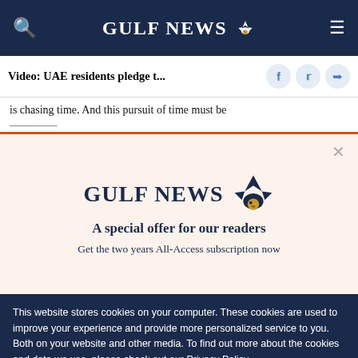GULF NEWS
Video: UAE residents pledge t...
is chasing time. And this pursuit of time must be
[Figure (screenshot): Gulf News subscription modal overlay on a beige/cream background. Features Gulf News logo with eagle, heading 'A special offer for our readers', and text 'Get the two years All-Access subscription now'.]
This website stores cookies on your computer. These cookies are used to improve your experience and provide more personalized service to you. Both on your website and other media. To find out more about the cookies and data we use, please check out our Privacy Policy.
OK